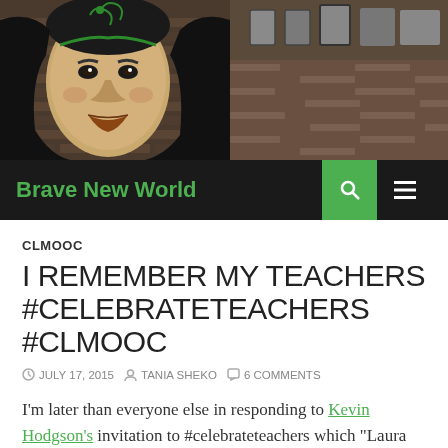[Figure (illustration): Header banner image showing a graffiti mural of a woman's face on a brick wall with urban background]
Brave New World
CLMOOC
I REMEMBER MY TEACHERS #CELEBRATETEACHERS #CLMOOC
JULY 17, 2015   TANIA SHEKO   6 COMMENTS
I'm later than everyone else in responding to Kevin Hodgson's invitation to #celebrateteachers which "Laura pitched as a game of tag" and so appropriate for #CLMOOC